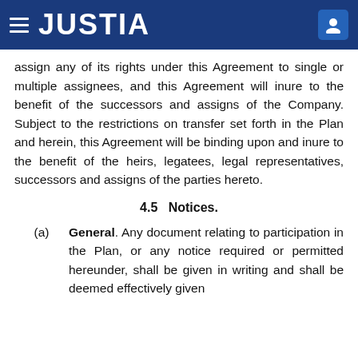JUSTIA
assign any of its rights under this Agreement to single or multiple assignees, and this Agreement will inure to the benefit of the successors and assigns of the Company. Subject to the restrictions on transfer set forth in the Plan and herein, this Agreement will be binding upon and inure to the benefit of the heirs, legatees, legal representatives, successors and assigns of the parties hereto.
4.5   Notices.
(a)   General. Any document relating to participation in the Plan, or any notice required or permitted hereunder, shall be given in writing and shall be deemed effectively given